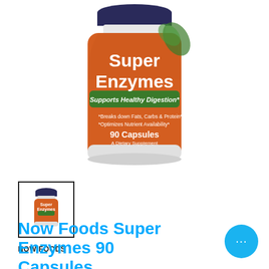[Figure (photo): NOW Foods Super Enzymes supplement bottle with orange label showing 'Super Enzymes', 'Supports Healthy Digestion*', '*Breaks down Fats, Carbs & Protein*', '*Optimizes Nutrient Availability*', '90 Capsules', 'A Dietary Supplement']
[Figure (photo): Small thumbnail image of the NOW Foods Super Enzymes bottle]
NOW FOODS
Now Foods Super Enzymes 90 Capsules